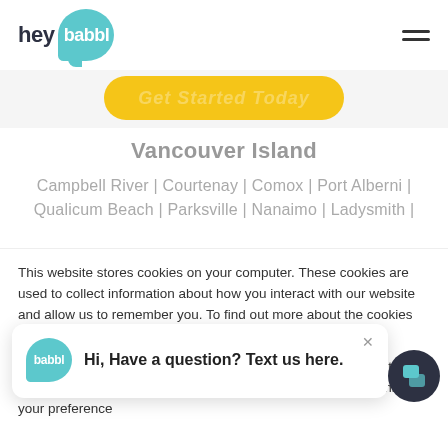[Figure (logo): hey babbl logo with teal speech bubble]
[Figure (other): Partially visible yellow rounded button with italic white/faded text 'Get Started Today']
Vancouver Island
Campbell River | Courtenay | Comox | Port Alberni | Qualicum Beach | Parksville | Nanaimo | Ladysmith |
This website stores cookies on your computer. These cookies are used to collect information about how you interact with our website and allow us to remember you. To find out more about the cookies we use, see our Privacy Policy.
If you decline, your information won't be tracked when you visit this website. A single cookie will be used in your browser to remember your preference
Hi, Have a question? Text us here.